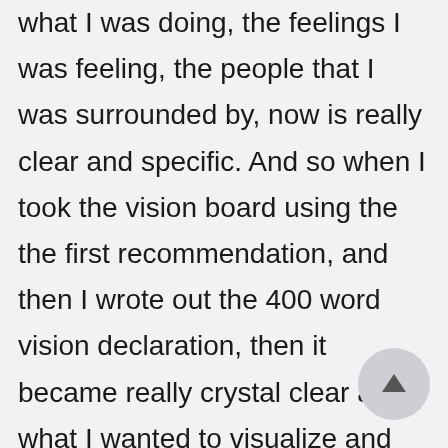what I was doing, the feelings I was feeling, the people that I was surrounded by, now is really clear and specific. And so when I took the vision board using the the first recommendation, and then I wrote out the 400 word vision declaration, then it became really crystal clear as to what I wanted to visualize and create for my future.

And the third way of doing this is another practice that I do more on a daily basis. The first two I do maybe once a year or once every two to three